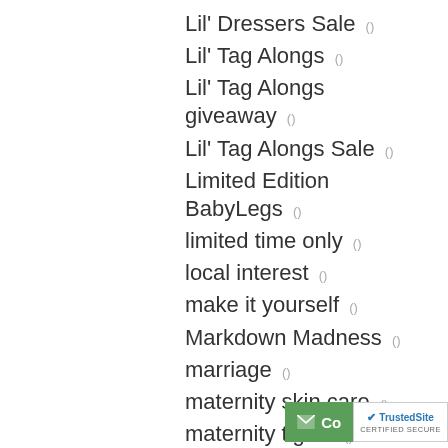Lil' Dressers Sale ()
Lil' Tag Alongs ()
Lil' Tag Alongs giveaway ()
Lil' Tag Alongs Sale ()
Limited Edition BabyLegs ()
limited time only ()
local interest ()
make it yourself ()
Markdown Madness ()
marriage ()
maternity skin care ()
maternity tights ()
Meet the mom inventor ()
memory tree ()